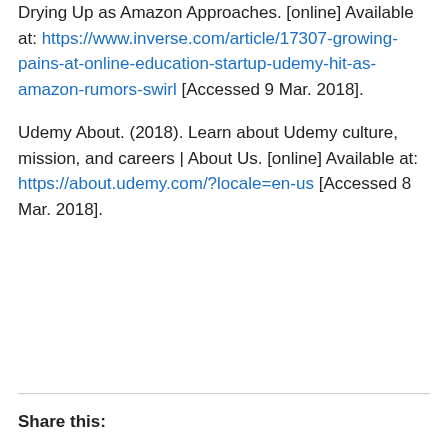Drying Up as Amazon Approaches. [online] Available at: https://www.inverse.com/article/17307-growing-pains-at-online-education-startup-udemy-hit-as-amazon-rumors-swirl [Accessed 9 Mar. 2018].
Udemy About. (2018). Learn about Udemy culture, mission, and careers | About Us. [online] Available at: https://about.udemy.com/?locale=en-us [Accessed 8 Mar. 2018].
Share this: